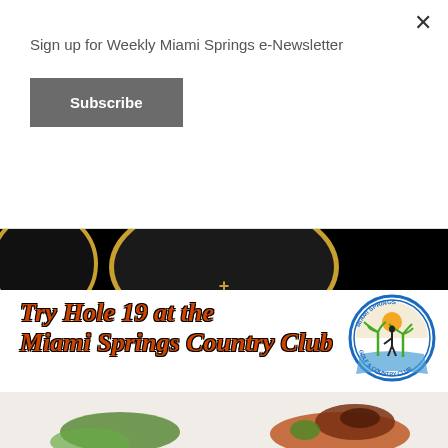Sign up for Weekly Miami Springs e-Newsletter
Subscribe
[Figure (logo): Partial black circular bar/restaurant logo with gold ring border and gold text '+' and 'BAR' visible at bottom of the circle]
Try Hole 19 at the Miami Springs Country Club
[Figure (logo): Miami Springs Golf & Country Club circular logo with palm trees, golfer silhouette, and blue water]
Twice as Sweet Hometown Bakery
75 North Royal Poinciana Boulevard, Miami Springs (305) 316-0096
[Figure (photo): Partial photo of baked goods / pastries at the bottom of the page]